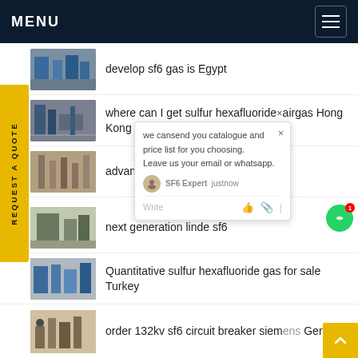MENU
develop sf6 gas is Egypt
where can I get sulfur hexafluoride airgas Hong Kong
advantages of hexafluoride d
next generation linde sf6
Quantitative sulfur hexafluoride gas for sale Turkey
order 132kv sf6 circuit breaker siemens Germany
[Figure (screenshot): Chat popup with message: we cansend you catalogue and price list for you choosing. Leave us your email or whatsapp. SF6 Expert just now. Write input area with like and attach icons.]